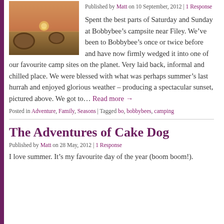[Figure (photo): Hay bales in a field at sunset with warm golden light]
Published by Matt on 10 September, 2012 | 1 Response
Spent the best parts of Saturday and Sunday at Bobbybee’s campsite near Filey. We’ve been to Bobbybee’s once or twice before and have now firmly wedged it into one of our favourite camp sites on the planet. Very laid back, informal and chilled place. We were blessed with what was perhaps summer’s last hurrah and enjoyed glorious weather – producing a spectacular sunset, pictured above. We got to… Read more →
Posted in Adventure, Family, Seasons | Tagged bo, bobbybees, camping
The Adventures of Cake Dog
Published by Matt on 28 May, 2012 | 1 Response
I love summer. It’s my favourite day of the year (boom boom!).